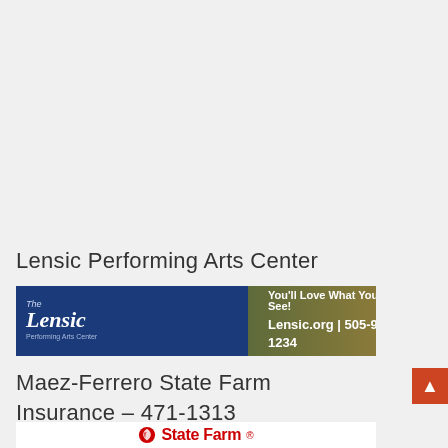Lensic Performing Arts Center
[Figure (infographic): The Lensic Performing Arts Center banner advertisement with blue background showing logo on the left and text 'You'll Love What You See! Lensic.org | 505-988-1234' in center, and a photo of the building lit up at night on the right.]
Maez-Ferrero State Farm Insurance – 471-1313
[Figure (logo): State Farm logo with red oval/flame icon and 'State Farm' text in red.]